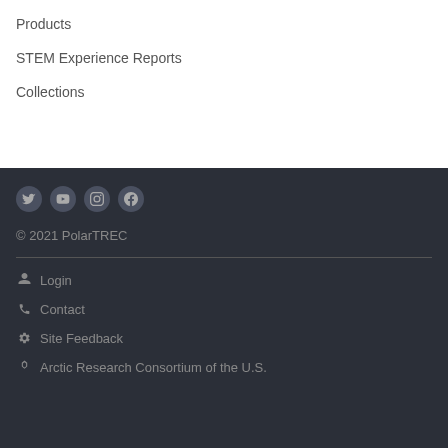Products
STEM Experience Reports
Collections
[Figure (infographic): Social media icons: Twitter, YouTube, Instagram, Facebook]
© 2021 PolarTREC
Login
Contact
Site Feedback
Arctic Research Consortium of the U.S.